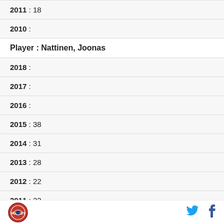2011 : 18
2010 :
Player : Nattinen, Joonas
2018 :
2017 :
2016 :
2015 : 38
2014 : 31
2013 : 28
2012 : 22
2011 : 22
Logo | Twitter | Facebook